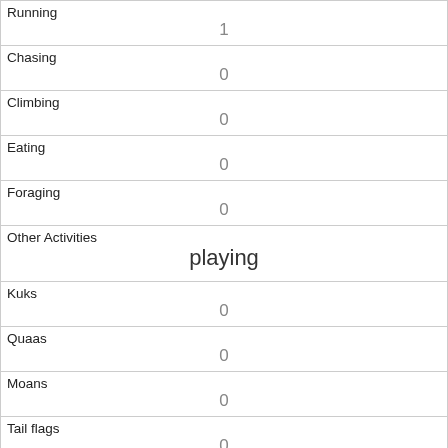| Running | 1 |
| Chasing | 0 |
| Climbing | 0 |
| Eating | 0 |
| Foraging | 0 |
| Other Activities | playing |
| Kuks | 0 |
| Quaas | 0 |
| Moans | 0 |
| Tail flags | 0 |